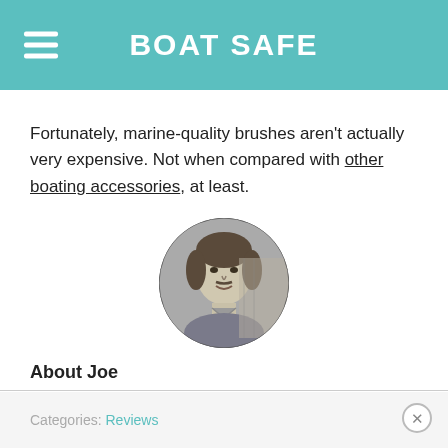BOAT SAFE
Fortunately, marine-quality brushes aren't actually very expensive. Not when compared with other boating accessories, at least.
[Figure (photo): Circular black and white portrait photo of Joe Appleton, a man looking slightly to the side.]
About Joe
Joe Appleton is an outdoor enthusiast who loves everything from bushcraft and hiking to wild camping and boating. If he's not out in the woods, you'll find him out on the water.
Categories: Reviews